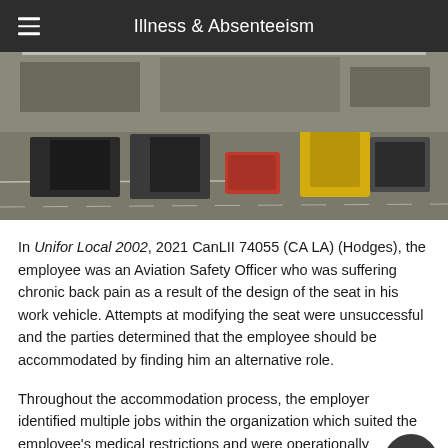Illness & Absenteeism
[Figure (photo): Aerial view of an airport tarmac with baggage carts, cargo containers, and ground support equipment. Yellow equipment visible in the background.]
In Unifor Local 2002, 2021 CanLII 74055 (CA LA) (Hodges), the employee was an Aviation Safety Officer who was suffering chronic back pain as a result of the design of the seat in his work vehicle. Attempts at modifying the seat were unsuccessful and the parties determined that the employee should be accommodated by finding him an alternative role.
Throughout the accommodation process, the employer identified multiple jobs within the organization which suited the employee's medical restrictions and were operationally feasible. However, the employee found those